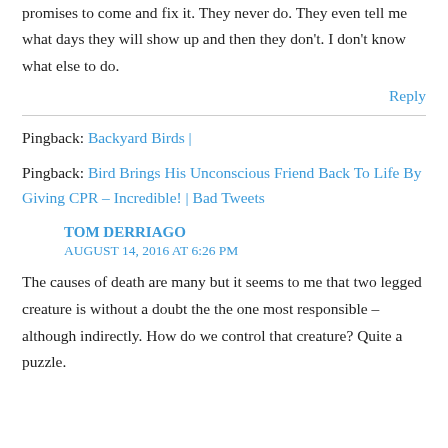promises to come and fix it. They never do. They even tell me what days they will show up and then they don't. I don't know what else to do.
Reply
Pingback: Backyard Birds |
Pingback: Bird Brings His Unconscious Friend Back To Life By Giving CPR – Incredible! | Bad Tweets
TOM DERRIAGO
AUGUST 14, 2016 AT 6:26 PM
The causes of death are many but it seems to me that two legged creature is without a doubt the the one most responsible – although indirectly. How do we control that creature? Quite a puzzle.